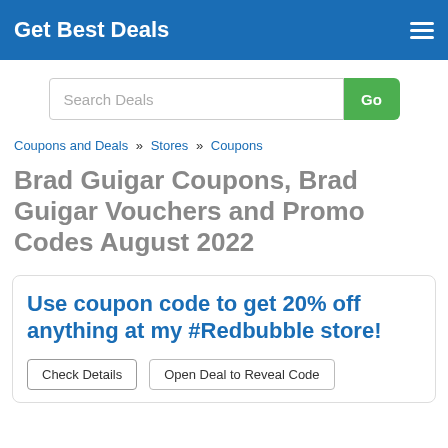Get Best Deals
Search Deals
Coupons and Deals » Stores » Coupons
Brad Guigar Coupons, Brad Guigar Vouchers and Promo Codes August 2022
Use coupon code to get 20% off anything at my #Redbubble store!
Check Details  Open Deal to Reveal Code